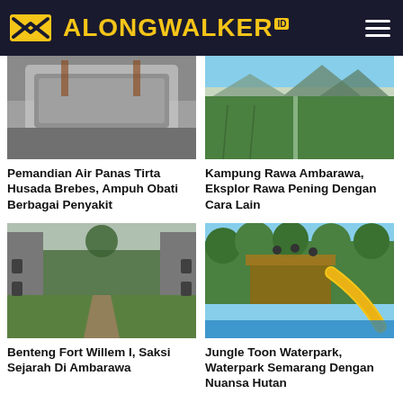ALONGWALKER ID
[Figure (photo): Photo of a hot spring bath tub, stone walls, grey/white old bathtub]
[Figure (photo): Photo of rice fields with mountains in the background, green paddy, irrigation channel]
Pemandian Air Panas Tirta Husada Brebes, Ampuh Obati Berbagai Penyakit
Kampung Rawa Ambarawa, Eksplor Rawa Pening Dengan Cara Lain
[Figure (photo): Photo of Benteng Fort Willem I, old stone fort corridor with grass pathway]
[Figure (photo): Photo of Jungle Toon Waterpark, wooden playground structure with yellow water slide and trees]
Benteng Fort Willem I, Saksi Sejarah Di Ambarawa
Jungle Toon Waterpark, Waterpark Semarang Dengan Nuansa Hutan